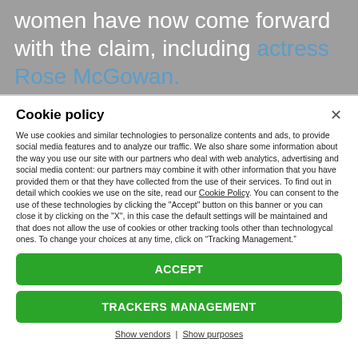women have now come forward with the claim, including actress Rose McGowan.
Cookie policy
We use cookies and similar technologies to personalize contents and ads, to provide social media features and to analyze our traffic. We also share some information about the way you use our site with our partners who deal with web analytics, advertising and social media content: our partners may combine it with other information that you have provided them or that they have collected from the use of their services. To find out in detail which cookies we use on the site, read our Cookie Policy. You can consent to the use of these technologies by clicking the "Accept" button on this banner or you can close it by clicking on the "X", in this case the default settings will be maintained and that does not allow the use of cookies or other tracking tools other than technologycal ones. To change your choices at any time, click on “Tracking Management.”
ACCEPT
TRACKERS MANAGEMENT
Show vendors | Show purposes